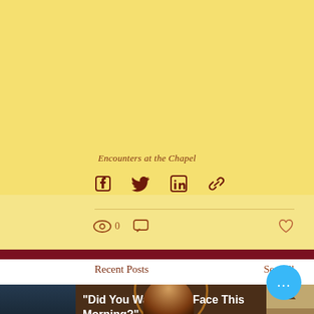Encounters at the Chapel
[Figure (screenshot): Social share icons row: Facebook, Twitter, LinkedIn, Link/copy icons in dark red on yellow background]
[Figure (screenshot): Post stats row: eye icon with 0 views, comment bubble icon, heart/like icon on right]
Recent Posts
See All
[Figure (screenshot): Post thumbnail card with bold white text: "Did You Wash Your Face This Morning?" over dark background with woman in white]
[Figure (screenshot): Floating action button (blue circle with three dots)]